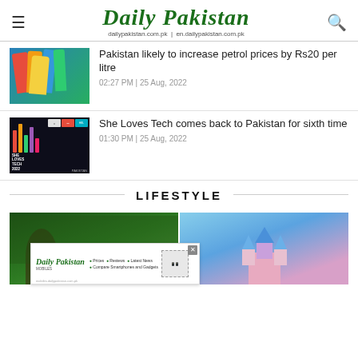Daily Pakistan — dailypakistan.com.pk | en.dailypakistan.com.pk
[Figure (photo): Petrol pump nozzles in red, yellow, blue against green background]
Pakistan likely to increase petrol prices by Rs20 per litre
02:27 PM | 25 Aug, 2022
[Figure (photo): She Loves Tech 2022 Pakistan colorful promotional image with logos]
She Loves Tech comes back to Pakistan for sixth time
01:30 PM | 25 Aug, 2022
LIFESTYLE
[Figure (photo): Two lifestyle images side by side: left shows a woman in green trees, right shows a Disney-style castle with blue spires]
[Figure (screenshot): Daily Pakistan Mobiles advertisement banner with prices, reviews, latest news, compare smartphones and gadgets]